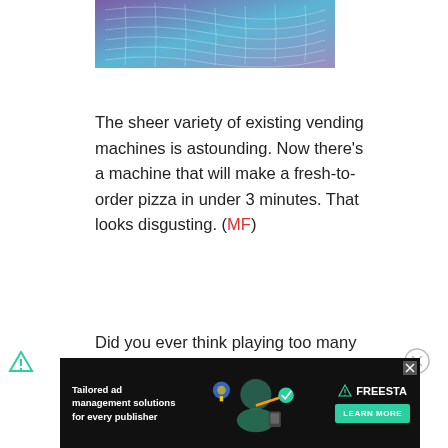[Figure (illustration): Abstract geometric grid/mesh graphic with purple-blue gradient background, partial view at top of page]
The sheer variety of existing vending machines is astounding. Now there’s a machine that will make a fresh-to-order pizza in under 3 minutes. That looks disgusting. (MF)
Did you ever think playing too many video games was truly bad for you? A
played himself into a
[Figure (infographic): Advertisement banner: dark background with illustrated figures, Freesta logo, and 'Tailored ad management solutions for every publisher' text with 'LEARN MORE' button]